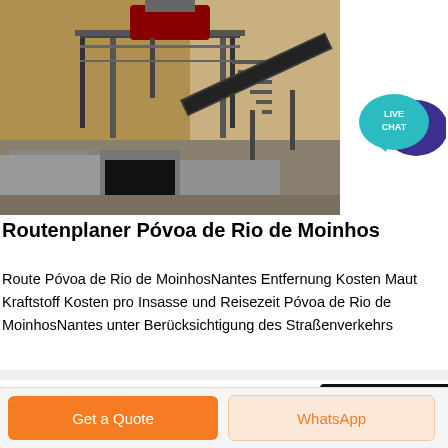[Figure (photo): Industrial mining/quarry equipment with conveyor belt and crusher machinery on a rocky hillside, steel scaffolding and structures visible]
[Figure (illustration): Live Chat badge — teal speech bubble with 'LIVE CHAT' text, overlapping dark blue speech bubble]
Routenplaner Póvoa de Rio de Moinhos
Route Póvoa de Rio de MoinhosNantes Entfernung Kosten Maut Kraftstoff Kosten pro Insasse und Reisezeit Póvoa de Rio de MoinhosNantes unter Berücksichtigung des Straßenverkehrs
Obtenha o preço
Get a Quote
WhatsApp